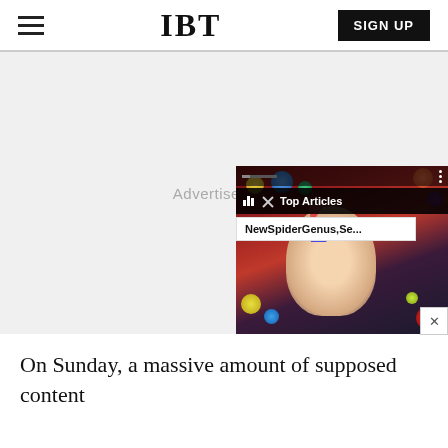IBT
[Figure (screenshot): IBT news website screenshot showing header with hamburger menu, IBT logo, and SIGN UP button, followed by an advertisement area with a popup video widget showing a David Bowie-like face painting with Top Articles overlay and NewSpiderGenus,Se... article title]
On Sunday, a massive amount of supposed content